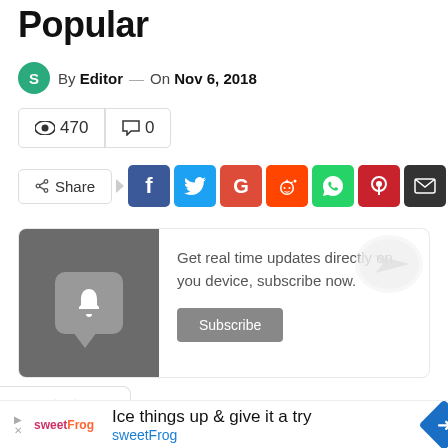Popular
By Editor — On Nov 6, 2018
👁 470  💬 0
Share [Facebook] [Twitter] [Google] [Reddit] [WhatsApp] [Pinterest] [Email] [+]
[Figure (infographic): Subscribe notification widget with bell icon on dark grey background and text: Get real time updates directly on you device, subscribe now. Subscribe button.]
[Figure (infographic): Advertisement: Ice things up & give it a try — sweetFrog logo and blue diamond arrow icon]